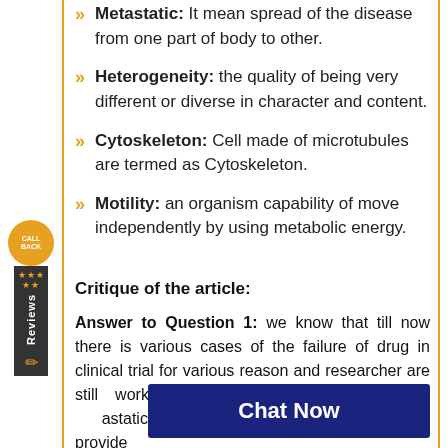Metastatic: It mean spread of the disease from one part of body to other.
Heterogeneity: the quality of being very different or diverse in character and content.
Cytoskeleton: Cell made of microtubules are termed as Cytoskeleton.
Motility: an organism capability of move independently by using metabolic energy.
Critique of the article:
Answer to Question 1: we know that till now there is various cases of the failure of drug in clinical trial for various reason and researcher are still working toward effective therapy for metastatic disease though the fact that a can provide